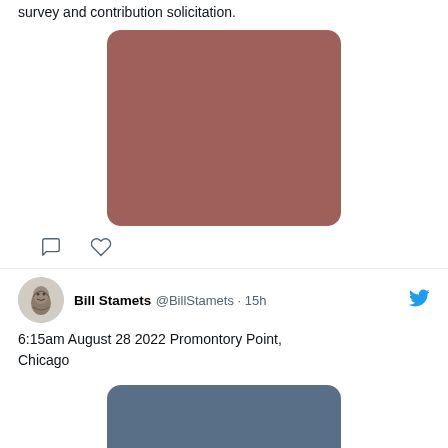survey and contribution solicitation.
[Figure (photo): Rounded rectangle image placeholder in muted rose/brown color]
[Figure (other): Tweet action icons: comment and like (heart)]
Bill Stamets @BillStamets · 15h
6:15am August 28 2022 Promontory Point, Chicago
[Figure (photo): Rounded rectangle image placeholder in slate blue color]